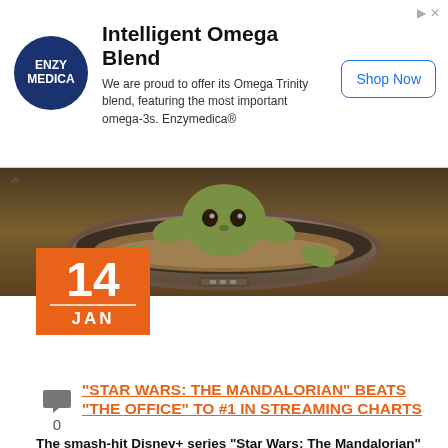[Figure (other): Advertisement banner for Enzymedica Intelligent Omega Blend with logo, text, and Shop Now button]
[Figure (photo): Hero image showing Baby Yoda (The Child) in a floating pod from The Mandalorian TV series]
14 JAN
"STAR WARS: THE MANDALORIAN" BEATS "THE OFFICE" TO #1 IN STREAMING CHARTS
The smash-hit Disney+ series “Star Wars: The Mandalorian” finally hit the top of the Nielsen Streaming Chart and it only took the return of Luke Skywalker in the season finale to defeat “The Office”. This is the first time Netflix hasn’t been in the #1 slot since the chart debuted in August 2020, though Netflix [...]